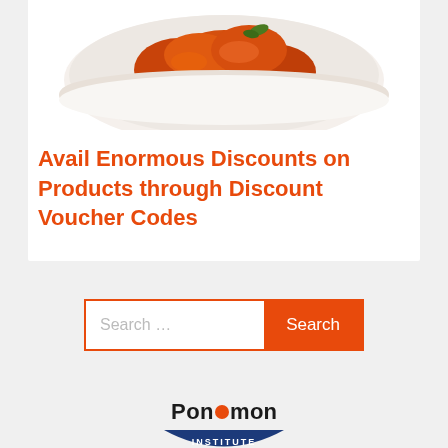[Figure (photo): Photo of food in a white bowl, appears to be sauced chicken or similar dish, cropped at top]
Avail Enormous Discounts on Products through Discount Voucher Codes
[Figure (other): Search bar with orange border, placeholder text 'Search ...' and an orange 'Search' button]
[Figure (logo): Ponemon Institute logo with orange dot replacing the 'o' in Ponemon, with blue arc and 'INSTITUTE' text below]